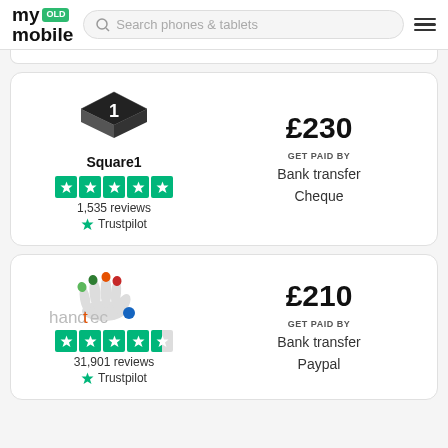my OLD mobile — Search phones & tablets
[Figure (logo): Square1 vendor card with logo, 4.5 star Trustpilot rating, 1,535 reviews, price £230, payment methods: Bank transfer, Cheque]
[Figure (logo): Handtec vendor card with logo, 4.5 star Trustpilot rating, 31,901 reviews, price £210, payment methods: Bank transfer, Paypal]